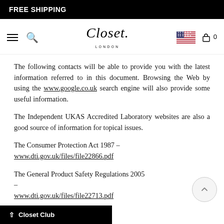FREE SHIPPING
[Figure (logo): Closet London logo with hamburger menu, search icon, US flag, and cart icon]
The following contacts will be able to provide you with the latest information referred to in this document. Browsing the Web by using the www.google.co.uk search engine will also provide some useful information.
The Independent UKAS Accredited Laboratory websites are also a good source of information for topical issues.
The Consumer Protection Act 1987 – www.dti.gov.uk/files/file22866.pdf
The General Product Safety Regulations 2005 – www.dti.gov.uk/files/file22713.pdf
e Descriptions Act 1968 –
^ Closet Club